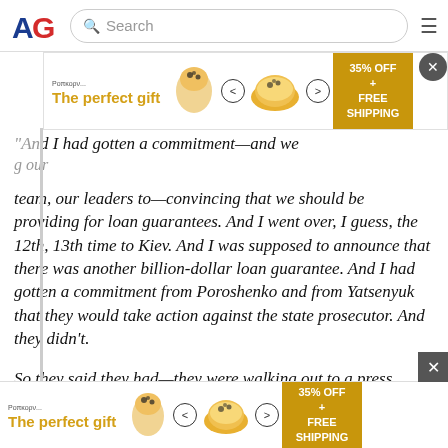AG [logo] Search [hamburger menu]
[Figure (other): Advertisement banner: 'The perfect gift' with popcorn bowl image, navigation arrows, and '35% OFF + FREE SHIPPING' promo badge]
“An[...] our team, our leaders to—convincing that we should be providing for loan guarantees. And I went over, I guess, the 12th, 13th time to Kiev. And I was supposed to announce that there was another billion-dollar loan guarantee. And I had gotten a commitment from Poroshenko and from Yatsenyuk that they would take action against the state prosecutor. And they didn’t.
So they said they had—they were walking out to a press conference. I said, nah, I’m not going to—or, we’re not going to give you $1 billion. They said, you have no authority. You’re not the president. The president said—I
[Figure (other): Advertisement banner (bottom): 'The perfect gift' with popcorn bowl image, navigation arrows, and '35% OFF + FREE SHIPPING' promo badge]